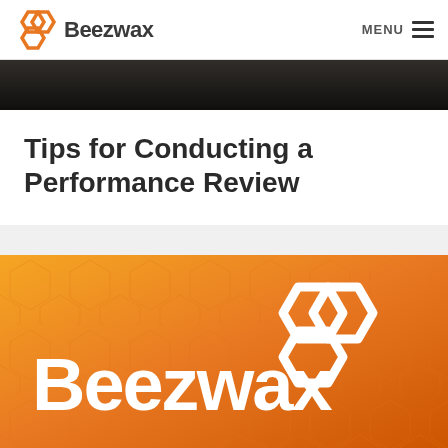Beezwax | MENU
[Figure (photo): Dark image strip at top of page beneath navigation]
Tips for Conducting a Performance Review
[Figure (logo): Beezwax logo on orange gradient background with hexagonal honeycomb icon in white]